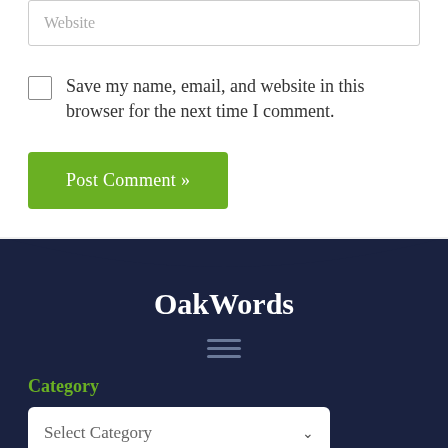Website
Save my name, email, and website in this browser for the next time I comment.
Post Comment »
OakWords
Category
Select Category